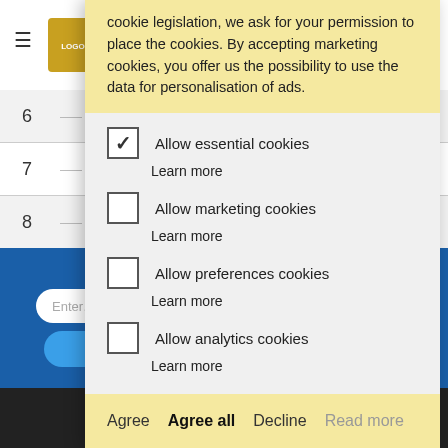cookie legislation, we ask for your permission to place the cookies. By accepting marketing cookies, you offer us the possibility to use the data for personalisation of ads.
✓ Allow essential cookies
Learn more
☐ Allow marketing cookies
Learn more
☐ Allow preferences cookies
Learn more
☐ Allow analytics cookies
Learn more
Agree  Agree all  Decline  Read more